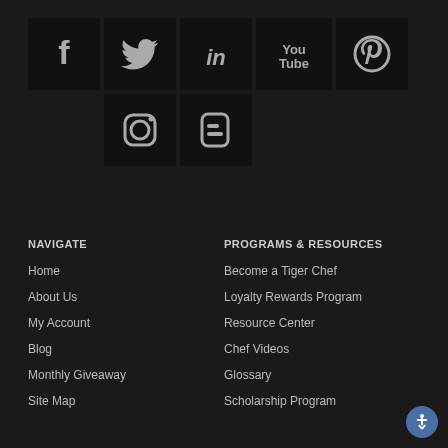[Figure (illustration): Social media icons: Facebook, Twitter, LinkedIn, YouTube, Pinterest in first row; Instagram, Blogger in second row, all on dark background tiles]
NAVIGATE
Home
About Us
My Account
Blog
Monthly Giveaway
Site Map
PROGRAMS & RESOURCES
Become a Tiger Chef
Loyalty Rewards Program
Resource Center
Chef Videos
Glossary
Scholarship Program